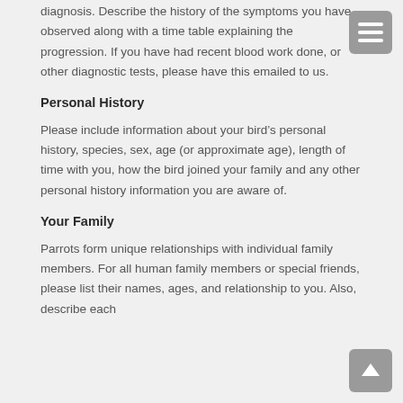diagnosis.  Describe the history of the symptoms you have observed along with a time table explaining the progression.  If you have had recent blood work done, or other diagnostic tests, please have this emailed to us.
Personal History
Please include information about your bird’s personal history, species, sex, age (or approximate age), length of time with you, how the bird joined your family and any other personal history information you are aware of.
Your Family
Parrots form unique relationships with individual family members.  For all human family members or special friends, please list their names, ages, and relationship to you.  Also, describe each